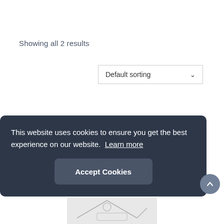Showing all 2 results
Default sorting
This website uses cookies to ensure you get the best experience on our website. Learn more
Accept Cookies
[Figure (screenshot): Partial product image visible at the bottom of the page]